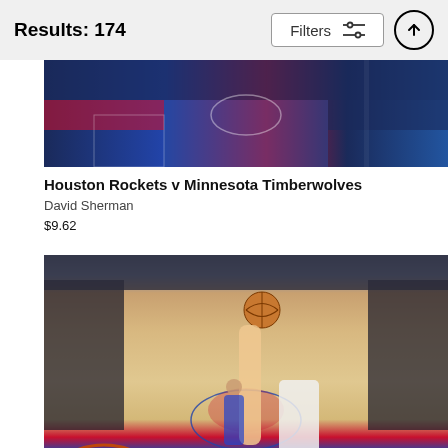Results: 174
Filters
[Figure (photo): Aerial view of Houston Rockets v Minnesota Timberwolves basketball game]
Houston Rockets v Minnesota Timberwolves
David Sherman
$9.62
[Figure (photo): Basketball game action shot showing player reaching up toward basket with ball, Detroit Pistons court visible]